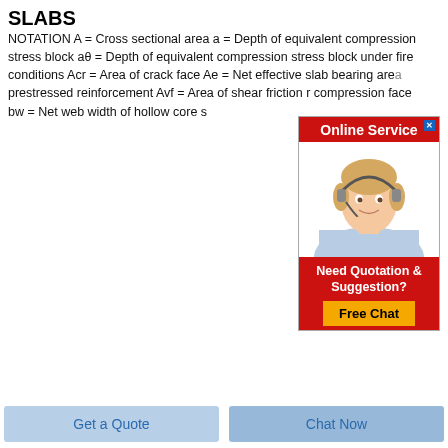SLABS
NOTATION A = Cross sectional area a = Depth of equivalent compression stress block aθ = Depth of equivalent compression stress block under fire conditions Acr = Area of crack face Ae = Net effective slab bearing area prestressed reinforcement Avf = Area of shear friction r compression face bw = Net web width of hollow core s
[Figure (photo): Online Service advertisement showing a woman with headset smiling, with 'Need Quotation & Suggestion? Free Chat' button]
[Figure (photo): Photo of a red/terracotta brick on a light grey background]
Get a Quote
Chat Now